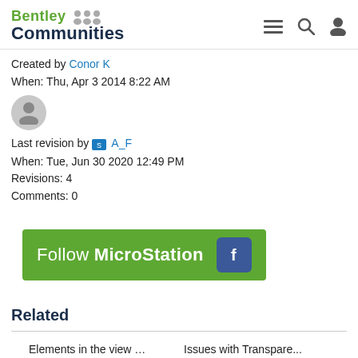Bentley Communities
Created by Conor K
When: Thu, Apr 3 2014 8:22 AM
[Figure (illustration): User avatar placeholder icon (grey circle with person silhouette)]
Last revision by A_F
When: Tue, Jun 30 2020 12:49 PM
Revisions: 4
Comments: 0
[Figure (infographic): Green banner with text 'Follow MicroStation' and Facebook icon]
Related
Elements in the view …
Product(s): MicroStation V...
Issues with Transpare...
Product(s): MicroStation V...
Reference not displayed
Product: MicroStation Vers...
Fix Levels lag and flas...
Product: MicroStation Vers...